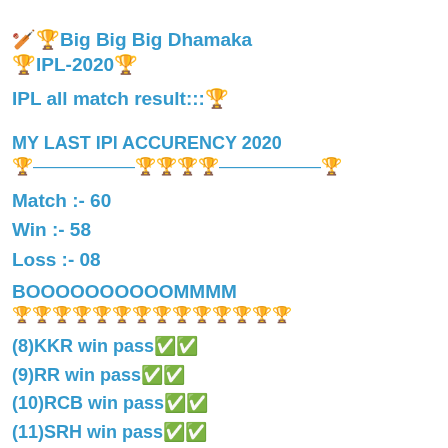🏏🏆Big Big Big Dhamaka 🏆IPL-2020🏆
IPL all match result:::🏆
MY LAST IPl ACCURENCY 2020
🏆▬▬▬▬🏆🏆🏆🏆▬▬▬▬▬🏆
Match :- 60
Win :- 58
Loss :- 08
BOOOOOOOOOOMMMM
🏆🏆🏆🏆🏆🏆🏆🏆🏆🏆🏆🏆🏆🏆
(8)KKR win pass✅✅
(9)RR win pass✅✅
(10)RCB win pass✅✅
(11)SRH win pass✅✅
(12)KKR win pass✅✅